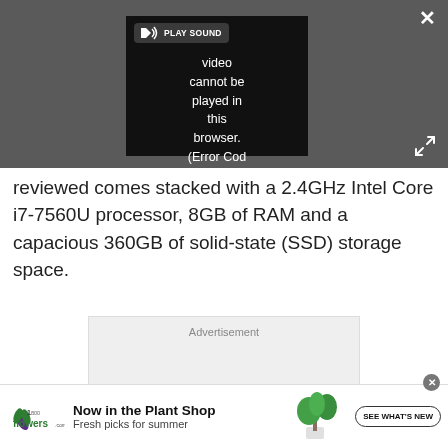[Figure (screenshot): Video player showing error message: 'Video cannot be played in this browser. (Error Cod' with a speaker/play sound button overlay and a dark background. Close (X) and expand buttons visible.]
reviewed comes stacked with a 2.4GHz Intel Core i7-7560U processor, 8GB of RAM and a capacious 360GB of solid-state (SSD) storage space.
[Figure (screenshot): Advertisement placeholder box with the label 'Advertisement']
[Figure (screenshot): 1-800-Flowers.com banner advertisement: 'Now in the Plant Shop - Fresh picks for summer' with a plant image and 'SEE WHAT'S NEW' button]